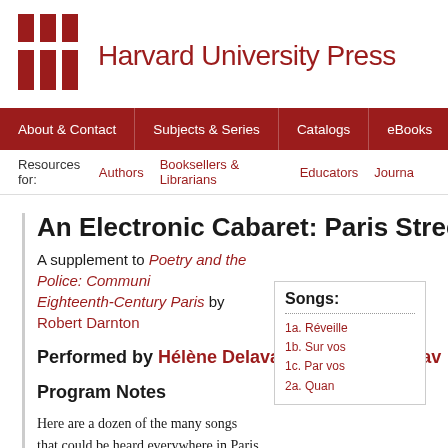[Figure (logo): Harvard University Press logo with red grid icon and text]
About & Contact | Subjects & Series | Catalogs | eBooks | News | Ord...
Resources for: Authors | Booksellers & Librarians | Educators | Journa...
An Electronic Cabaret: Paris Street S...
A supplement to Poetry and the Police: Communi... Eighteenth-Century Paris by Robert Darnton
Performed by Hélène Delavault and Claude Pav...
Program Notes
Here are a dozen of the many songs that could be heard everywhere in Paris at the time of the Affair of the Fourteen. Their lyrics have been transcribed from contemporary chansonniers, and their
Songs:
1a. Réveille...
1b. Sur vos...
1c. Par vos...
2a. Quan...